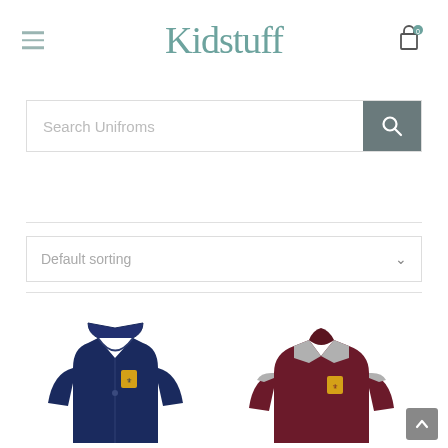Kidstuff
Search Unifroms
Default sorting
[Figure (photo): Navy blue school fleece/zip-up jacket with yellow school crest badge on the chest]
[Figure (photo): Maroon and grey school sweatshirt/jumper with yellow school crest badge on the chest]